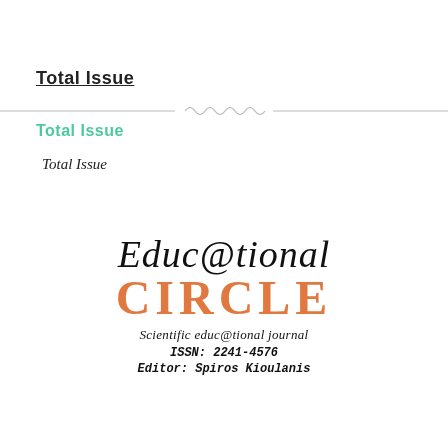Total Issue
Total Issue
Total Issue
[Figure (logo): Educational Circle journal logo with cursive 'Educ@tional' text above large orange 'CIRCLE' text, followed by 'Scientific educ@tional journal', 'ISSN: 2241-4576', and 'Editor: Spiros Kioulanis']